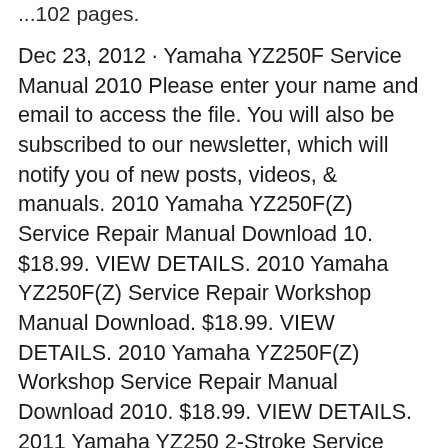...102 pages.
Dec 23, 2012 · Yamaha YZ250F Service Manual 2010 Please enter your name and email to access the file. You will also be subscribed to our newsletter, which will notify you of new posts, videos, & manuals. 2010 Yamaha YZ250F(Z) Service Repair Manual Download 10. $18.99. VIEW DETAILS. 2010 Yamaha YZ250F(Z) Service Repair Workshop Manual Download. $18.99. VIEW DETAILS. 2010 Yamaha YZ250F(Z) Workshop Service Repair Manual Download 2010. $18.99. VIEW DETAILS. 2011 Yamaha YZ250 2-Stroke Service Repair Manual Motorcycle pdf Download Detailed and Specific.